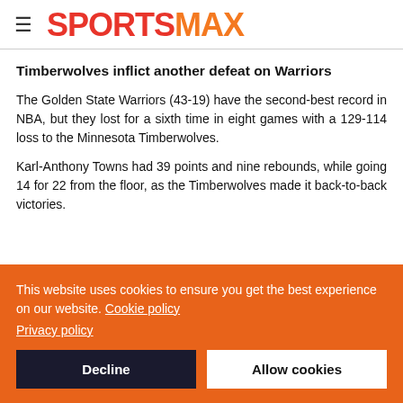SPORTSMAX
Timberwolves inflict another defeat on Warriors
The Golden State Warriors (43-19) have the second-best record in NBA, but they lost for a sixth time in eight games with a 129-114 loss to the Minnesota Timberwolves.
Karl-Anthony Towns had 39 points and nine rebounds, while going 14 for 22 from the floor, as the Timberwolves made it back-to-back victories.
This website uses cookies to ensure you get the best experience on our website. Cookie policy Privacy policy
Decline
Allow cookies